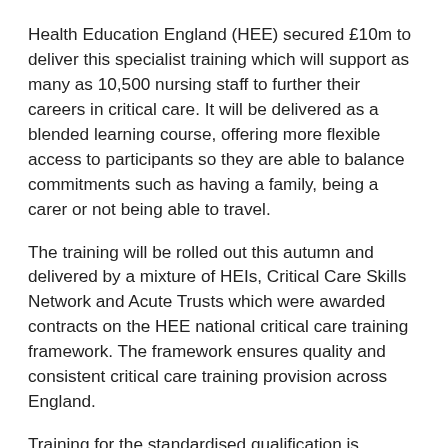Health Education England (HEE) secured £10m to deliver this specialist training which will support as many as 10,500 nursing staff to further their careers in critical care. It will be delivered as a blended learning course, offering more flexible access to participants so they are able to balance commitments such as having a family, being a carer or not being able to travel.
The training will be rolled out this autumn and delivered by a mixture of HEIs, Critical Care Skills Network and Acute Trusts which were awarded contracts on the HEE national critical care training framework. The framework ensures quality and consistent critical care training provision across England.
Training for the standardised qualification is expected to take up to 12 months and will provide a nationally recognised pathway for a career in Adult Intensive Care Units (ICU) whether that is becoming a pod or shift leader, becoming a clinical educator or leading